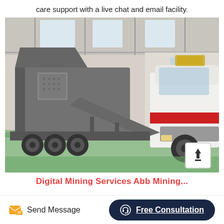care support with a live chat and email facility.
[Figure (photo): Industrial mobile crusher/mining equipment on a truck trailer inside a large warehouse/factory facility. A white and red heavy truck cab is visible on the right side. A grey mobile jaw crusher is loaded on the trailer. The floor is green-painted concrete. The building has large steel framework and skylights.]
Digital Mining Services Abb Mining...
Send Message
Free Consultation